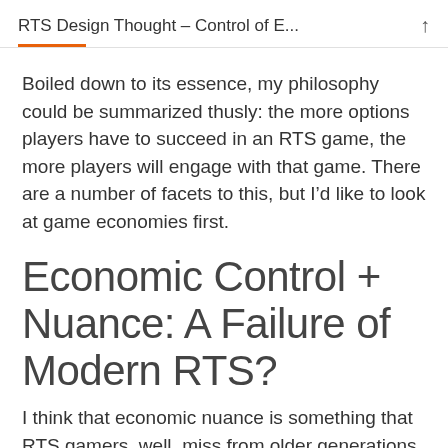RTS Design Thought – Control of E...
Boiled down to its essence, my philosophy could be summarized thusly: the more options players have to succeed in an RTS game, the more players will engage with that game. There are a number of facets to this, but I’d like to look at game economies first.
Economic Control + Nuance: A Failure of Modern RTS?
I think that economic nuance is something that RTS gamers, well, miss from older generations of games. In many newer RTS, game economies tend